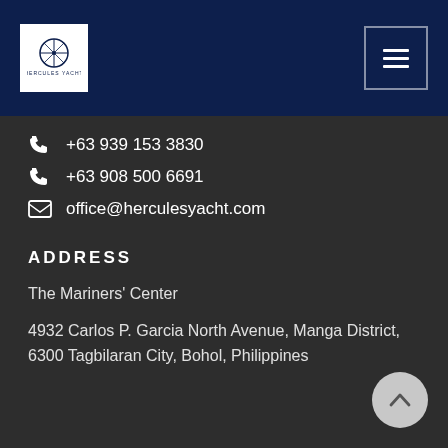[Figure (logo): Hercules Yacht logo — white square with circular compass/wheel emblem and text below]
[Figure (other): Hamburger menu button — three horizontal lines on dark navy square with border]
+63 939 153 3830
+63 908 500 6691
office@herculesyacht.com
ADDRESS
The Mariners' Center
4932 Carlos P. Garcia North Avenue, Manga District, 6300 Tagbilaran City, Bohol, Philippines